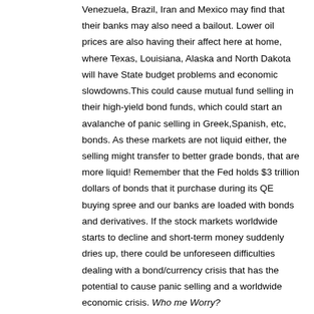Venezuela, Brazil, Iran and Mexico may find that their banks may also need a bailout. Lower oil prices are also having their affect here at home, where Texas, Louisiana, Alaska and North Dakota will have State budget problems and economic slowdowns.This could cause mutual fund selling in their high-yield bond funds, which could start an avalanche of panic selling in Greek,Spanish, etc, bonds. As these markets are not liquid either, the selling might transfer to better grade bonds, that are more liquid! Remember that the Fed holds $3 trillion dollars of bonds that it purchase during its QE buying spree and our banks are loaded with bonds and derivatives. If the stock markets worldwide starts to decline and short-term money suddenly dries up, there could be unforeseen difficulties dealing with a bond/currency crisis that has the potential to cause panic selling and a worldwide economic crisis. Who me Worry?